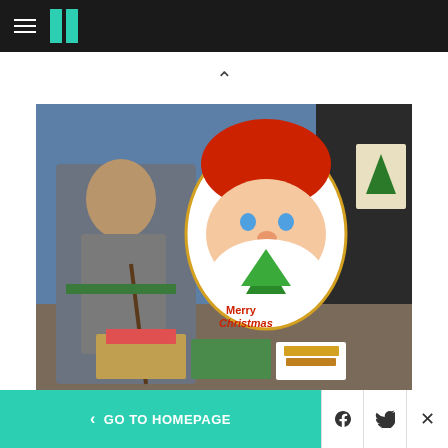HuffPost navigation bar with hamburger menu and logo
[Figure (photo): An elderly Iraqi Christian man sits in a chair in a refugee camp next to a table with Christmas gifts, chocolates, and a large Santa Claus 'Merry Christmas' cardboard cutout. A UNHCR tent is visible in the background.]
Matt Cardy via Getty Images
ERBIL, IRAQ - DECEMBER 08: An Iraqi Christian, who
< GO TO HOMEPAGE | Facebook | Twitter | X (close)